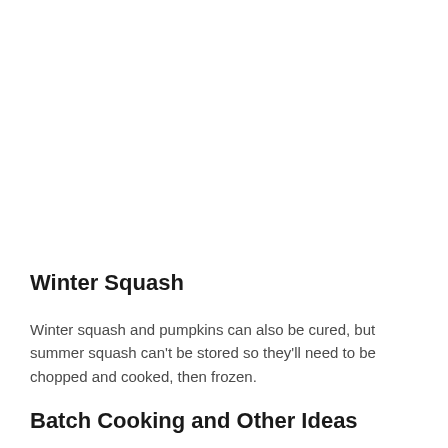Winter Squash
Winter squash and pumpkins can also be cured, but summer squash can't be stored so they'll need to be chopped and cooked, then frozen.
Batch Cooking and Other Ideas